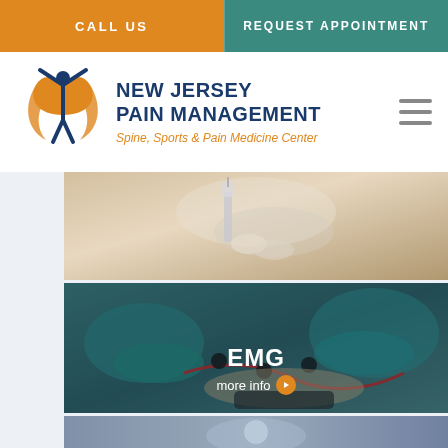CALL US
REQUEST APPOINTMENT
[Figure (logo): New Jersey Pain Management logo with figure, orange/blue colors]
NEW JERSEY PAIN MANAGEMENT
Spine, Sports & Pain Medicine Center
[Figure (photo): Medical injection procedure, close-up of gloved hands with syringe]
[Figure (photo): EMG procedure, gloved hands attaching electrodes to patient wrist with text overlay: EMG / more info]
[Figure (photo): Partial view of another medical procedure image at bottom]